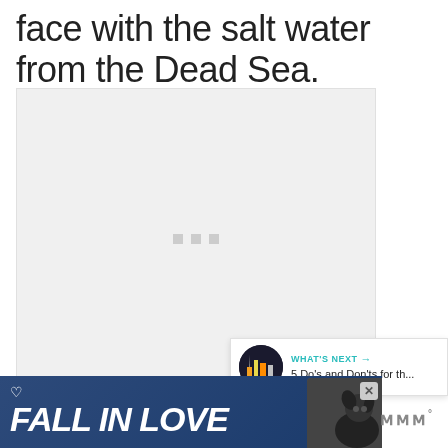face with the salt water from the Dead Sea.
[Figure (photo): Large image placeholder with loading indicator (three gray squares in center), representing a photo related to the Dead Sea salt water topic.]
[Figure (infographic): Social interaction UI overlay: teal heart/like button showing 715 likes, share button (circle with share icon), and a 'What's Next' panel showing a thumbnail of Las Vegas and text '5 Do's and Don'ts for th...']
[Figure (infographic): Advertisement banner with dark blue background reading 'FALL IN LOVE' in large italic white text, heart icon, dog image on the right, and a close/X button. Tidal music logo visible to the right.]